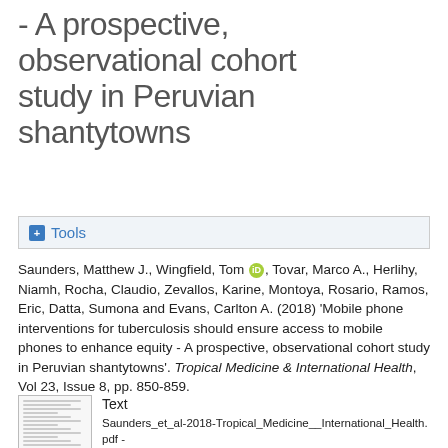- A prospective, observational cohort study in Peruvian shantytowns
Tools
Saunders, Matthew J., Wingfield, Tom [ORCID], Tovar, Marco A., Herlihy, Niamh, Rocha, Claudio, Zevallos, Karine, Montoya, Rosario, Ramos, Eric, Datta, Sumona and Evans, Carlton A. (2018) 'Mobile phone interventions for tuberculosis should ensure access to mobile phones to enhance equity - A prospective, observational cohort study in Peruvian shantytowns'. Tropical Medicine & International Health, Vol 23, Issue 8, pp. 850-859.
[Figure (other): Thumbnail preview of PDF document]
Text
Saunders_et_al-2018-Tropical_Medicine__International_Health.pdf - Accepted Version